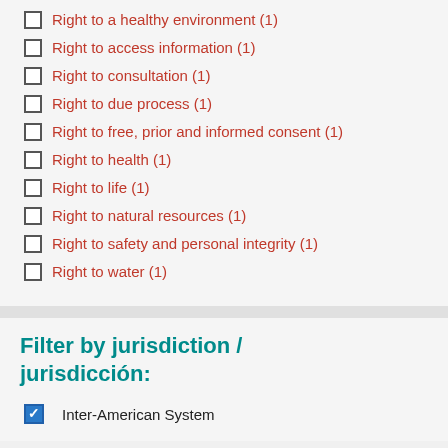Right to a healthy environment (1)
Right to access information (1)
Right to consultation (1)
Right to due process (1)
Right to free, prior and informed consent (1)
Right to health (1)
Right to life (1)
Right to natural resources (1)
Right to safety and personal integrity (1)
Right to water (1)
Filter by jurisdiction / jurisdicción:
Inter-American System